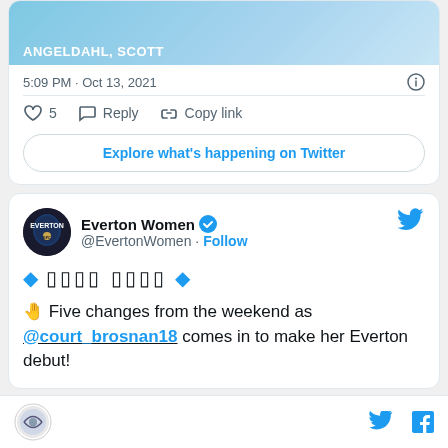[Figure (screenshot): Top portion of a tweet showing image with text 'ANGELDAHL, SCOTT' on blue background]
5:09 PM · Oct 13, 2021
5  Reply  Copy link
Explore what's happening on Twitter
[Figure (screenshot): Everton Women tweet with avatar, verified badge, follow button, diamond emojis with Khmer/special characters text, hand emoji and tweet text about five changes]
Everton Women @EvertonWomen · Follow
🤚 Five changes from the weekend as @court_brosnan18 comes in to make her Everton debut!
Footer with organization logo and social media icons (Twitter, Facebook)